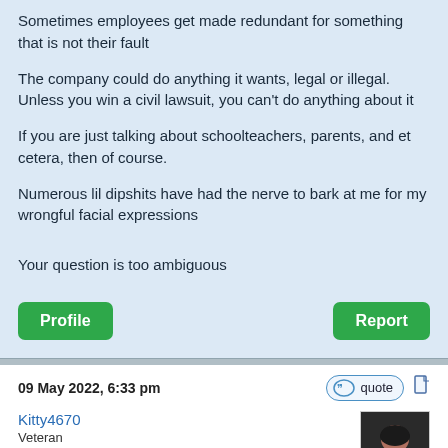Sometimes employees get made redundant for something that is not their fault
The company could do anything it wants, legal or illegal. Unless you win a civil lawsuit, you can't do anything about it
If you are just talking about schoolteachers, parents, and et cetera, then of course.
Numerous lil dipshits have had the nerve to bark at me for my wrongful facial expressions
Your question is too ambiguous
Profile
Report
09 May 2022, 6:33 pm
quote
Kitty4670
Veteran
Veteran